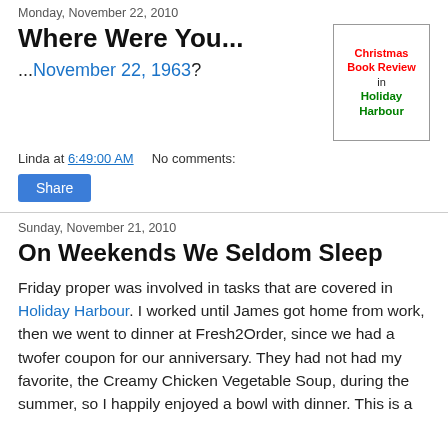Monday, November 22, 2010
Where Were You...
...November 22, 1963?
[Figure (illustration): Christmas Book Review in Holiday Harbour badge/logo with red and green text on white background with border]
Linda at 6:49:00 AM    No comments:
Share
Sunday, November 21, 2010
On Weekends We Seldom Sleep
Friday proper was involved in tasks that are covered in Holiday Harbour. I worked until James got home from work, then we went to dinner at Fresh2Order, since we had a twofer coupon for our anniversary. They had not had my favorite, the Creamy Chicken Vegetable Soup, during the summer, so I happily enjoyed a bowl with dinner. This is a